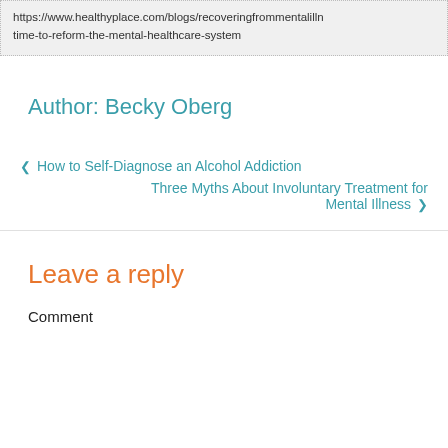https://www.healthyplace.com/blogs/recoveringfrommentalillness/time-to-reform-the-mental-healthcare-system
Author: Becky Oberg
‹ How to Self-Diagnose an Alcohol Addiction
Three Myths About Involuntary Treatment for Mental Illness ›
Leave a reply
Comment